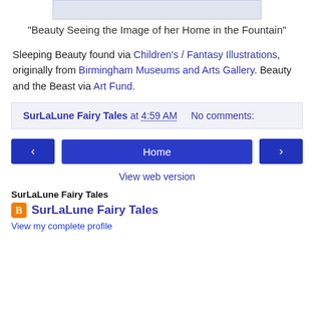[Figure (photo): Cropped top of an image placeholder, partially visible at top of page]
"Beauty Seeing the Image of her Home in the Fountain"
Sleeping Beauty found via Children's / Fantasy Illustrations, originally from Birmingham Museums and Arts Gallery. Beauty and the Beast via Art Fund.
SurLaLune Fairy Tales at 4:59 AM    No comments:
[Figure (screenshot): Navigation bar with left arrow button, Home button, and right arrow button]
View web version
SurLaLune Fairy Tales
SurLaLune Fairy Tales
View my complete profile